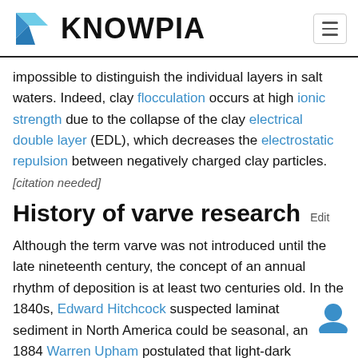KNOWPIA
impossible to distinguish the individual layers in salt waters. Indeed, clay flocculation occurs at high ionic strength due to the collapse of the clay electrical double layer (EDL), which decreases the electrostatic repulsion between negatively charged clay particles. [citation needed]
History of varve research
Although the term varve was not introduced until the late nineteenth century, the concept of an annual rhythm of deposition is at least two centuries old. In the 1840s, Edward Hitchcock suspected laminated sediment in North America could be seasonal, and 1884 Warren Upham postulated that light-dark